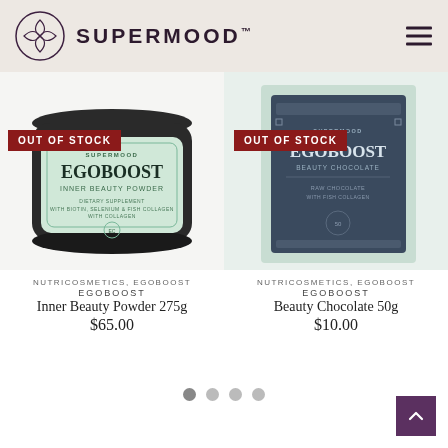[Figure (logo): Supermood brand logo: circular emblem with overlapping leaf/petal shapes and wordmark SUPERMOOD]
[Figure (photo): EGOBOOST Inner Beauty Powder 275g product jar in mint/green packaging with OUT OF STOCK badge]
[Figure (photo): EGOBOOST Beauty Chocolate 50g product box in dark blue/grey with mint background with OUT OF STOCK badge]
NUTRICOSMETICS, EGOBOOST
EGOBOOST
Inner Beauty Powder 275g
$65.00
NUTRICOSMETICS, EGOBOOST
EGOBOOST
Beauty Chocolate 50g
$10.00